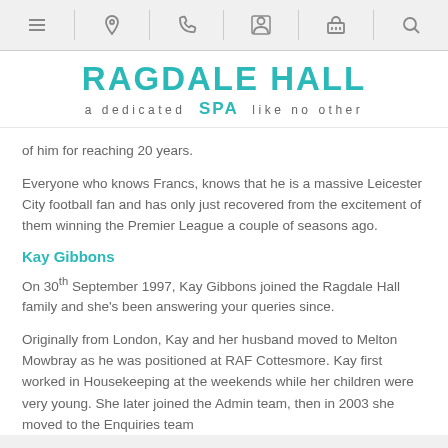Navigation icons: menu, location, phone, person, basket, search
RAGDALE HALL SPA — a dedicated SPA like no other
of him for reaching 20 years.
Everyone who knows Francs, knows that he is a massive Leicester City football fan and has only just recovered from the excitement of them winning the Premier League a couple of seasons ago.
Kay Gibbons
On 30th September 1997, Kay Gibbons joined the Ragdale Hall family and she's been answering your queries since.
Originally from London, Kay and her husband moved to Melton Mowbray as he was positioned at RAF Cottesmore. Kay first worked in Housekeeping at the weekends while her children were very young. She later joined the Admin team, then in 2003 she moved to the Enquiries team